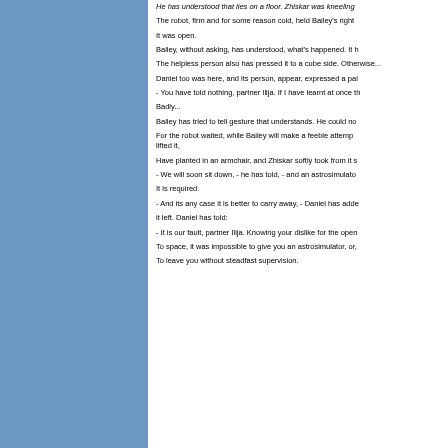He has understood that lies on a floor. Zhiskar was kneeling
The robot, firm and for some reason cold, held Bailey's right
It was open.
Bailey, without asking, has understood, what's happened. It h
The helpless person also has pressed it to a cube side. Otherwise...
Daniel too was here, and its person, appear, expressed a pai
- You have told nothing, partner Ilija. If I have learnt at once th
Badly...
Bailey has tried to tell gesture that understands. He could no
For the robot waited, while Bailey will make a feeble attemp lifted it,
Have planted in an armchair, and Zhiskar softly took from it s
- We will soon sit down, - he has told, - and an astrosimulato
It is required.
- And its any case it is better to carry away, - Daniel has adde
it left. Daniel has told:
- It is our fault, partner Ilija. Knowing your dislike for the open
To space, it was impossible to give you an astrosimulator, or,
To leave you without steadfast supervision.